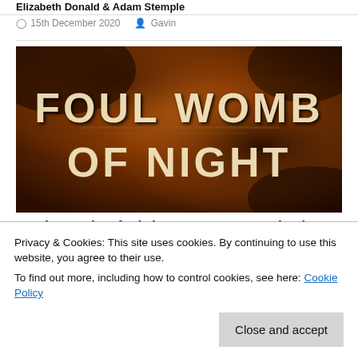Elizabeth Donald & Adam Stemple
15th December 2020   Gavin
[Figure (photo): Book cover image showing 'FOUL WOMB OF NIGHT' text in large white distressed font on a dark orange/brown smoky background]
Foul Womb Of Night: Gustavo Bondoni, Elizabeth Donald & Adam Stemple
Privacy & Cookies: This site uses cookies. By continuing to use this website, you agree to their use.
To find out more, including how to control cookies, see here: Cookie Policy
Close and accept